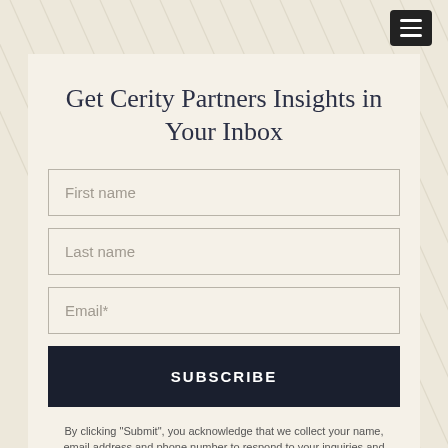Get Cerity Partners Insights in Your Inbox
First name
Last name
Email*
SUBSCRIBE
By clicking “Submit”, you acknowledge that we collect your name, email address and phone number to respond to your inquiries and provide you information about our products and services in accordance with our Privacy Policy. If you are a California resident, please see our CCPA Notice to California Residents.